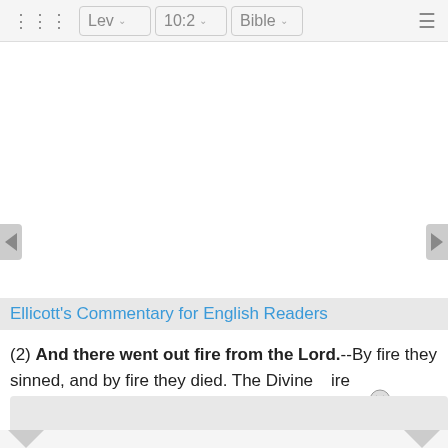Lev  10:2  Bible
Ellicott's Commentary for English Readers
(2) And there went out fire from the Lord.--By fire they sinned, and by fire they died. The Divine fire which [is used for that purpose, on the sacrifice, a token] avenge[r ...] as